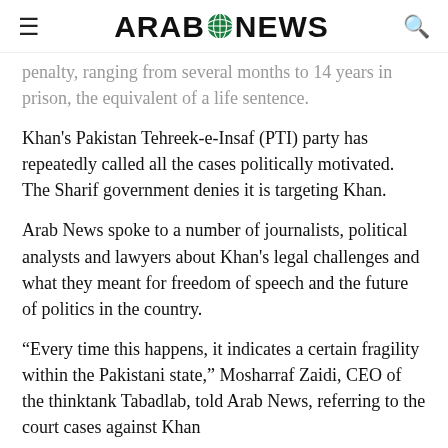Arab News
penalty, ranging from several months to 14 years in prison, the equivalent of a life sentence.
Khan's Pakistan Tehreek-e-Insaf (PTI) party has repeatedly called all the cases politically motivated. The Sharif government denies it is targeting Khan.
Arab News spoke to a number of journalists, political analysts and lawyers about Khan's legal challenges and what they meant for freedom of speech and the future of politics in the country.
“Every time this happens, it indicates a certain fragility within the Pakistani state,” Mosharraf Zaidi, CEO of the thinktank Tabadlab, told Arab News, referring to the court cases against Khan